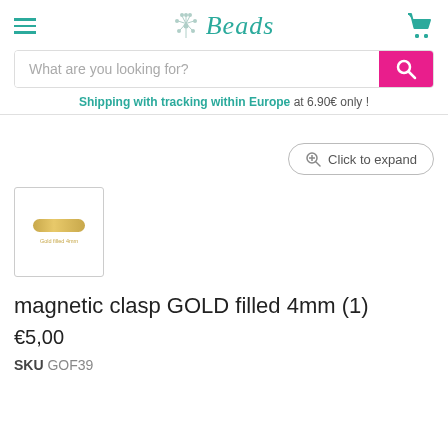i-Beads
What are you looking for?
Shipping with tracking within Europe at 6.90€ only !
Click to expand
[Figure (photo): Small thumbnail image of a gold filled magnetic clasp 4mm]
magnetic clasp GOLD filled 4mm (1)
€5,00
SKU GOF39